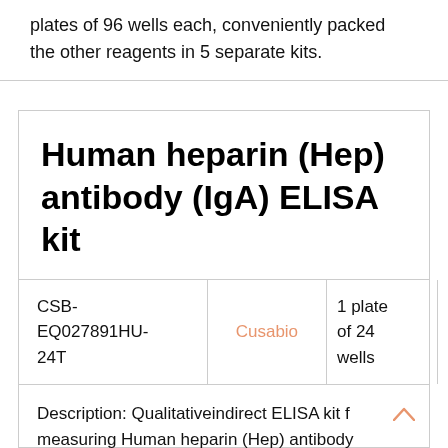plates of 96 wells each, conveniently packed the other reagents in 5 separate kits.
Human heparin (Hep) antibody (IgA) ELISA kit
| Catalog | Brand | Size | Price |
| --- | --- | --- | --- |
| CSB-EQ027891HU-24T | Cusabio | 1 plate of 24 wells | EUR 165 |
Description: Qualitativeindirect ELISA kit for measuring Human heparin (Hep) antibody